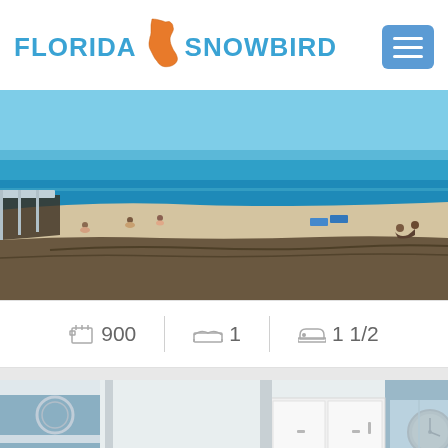[Figure (logo): Florida Snowbird logo with Florida state map outline in orange and blue text reading FLORIDA SNOWBIRD]
[Figure (photo): Beach photo showing sandy beach with ocean, people sunbathing and sitting near the water, taken from elevated deck perspective]
900  1  1 1/2
[Figure (photo): Interior kitchen photo showing white cabinets, stainless steel refrigerator, clock on wall, blue walls]